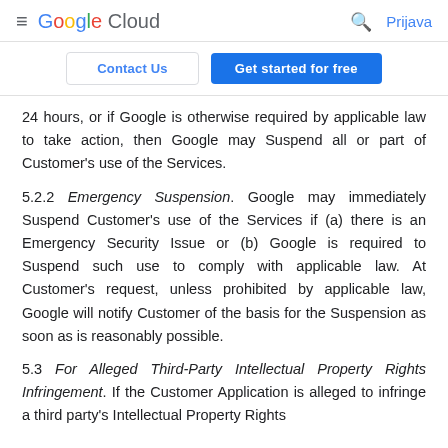Google Cloud | Prijava
Contact Us | Get started for free
24 hours, or if Google is otherwise required by applicable law to take action, then Google may Suspend all or part of Customer's use of the Services.
5.2.2 Emergency Suspension. Google may immediately Suspend Customer's use of the Services if (a) there is an Emergency Security Issue or (b) Google is required to Suspend such use to comply with applicable law. At Customer's request, unless prohibited by applicable law, Google will notify Customer of the basis for the Suspension as soon as is reasonably possible.
5.3 For Alleged Third-Party Intellectual Property Rights Infringement. If the Customer Application is alleged to infringe a third party's Intellectual Property Rights